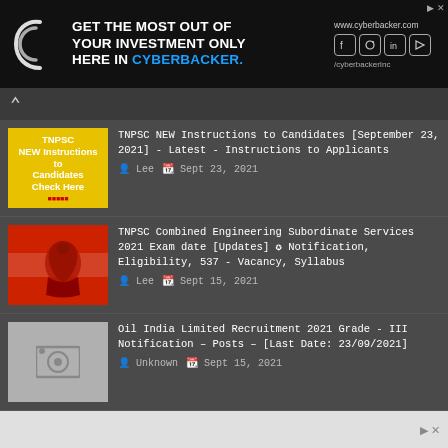[Figure (infographic): Cyberbacker advertisement banner: dark background with logo, text GET THE MOST OUT OF YOUR INVESTMENT ONLY HERE IN CYBERBACKER, URL www.cyberbacker.com and social media icons]
TNPSC NEW Instructions to Candidates [September 23, 2021] - Latest - Instructions to Applicants — Lee, Sept 23, 2021
TNPSC Combined Engineering Subordinate Services 2021 Exam date [Updates] ✪ Notification, Eligibility, 537 - Vacancy, Syllabus — Lee, Sept 15, 2021
Oil India Limited Recruitment 2021 Grade - III Notification – Posts – [Last Date: 23/09/2021] — Unknown, Sept 15, 2021
[Figure (infographic): Bottom advertisement banner with light gray background]